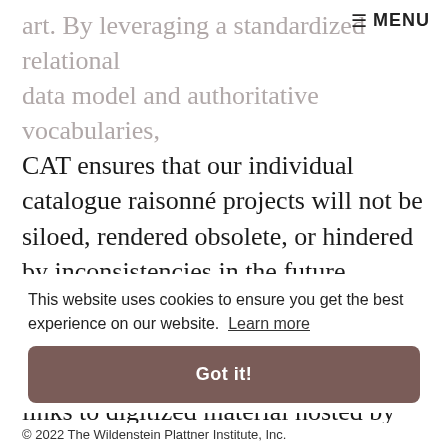≡ MENU
art. By leveraging a standardized relational data model and authoritative vocabularies, CAT ensures that our individual catalogue raisonné projects will not be siloed, rendered obsolete, or hindered by inconsistencies in the future. Instead, researchers will be able to conduct complex searches, as well as discover and generate meaningful links to digitized material hosted by many different institutions.
This website uses cookies to ensure you get the best experience on our website.  Learn more
Got it!
© 2022 The Wildenstein Plattner Institute, Inc.